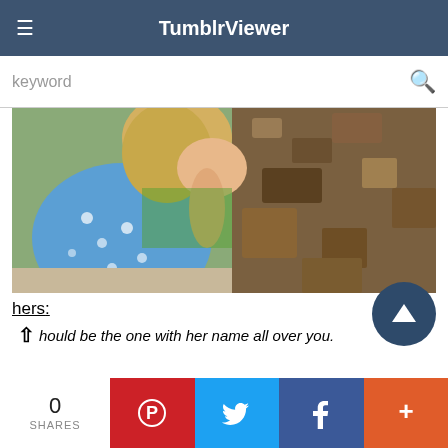TumblrViewer
keyword
[Figure (photo): Cropped photo showing a woman in a blue floral dress with blonde hair, and textured rock/bark in the background, with green foliage visible]
hers:
↑ hould be the one with her name all over you.
P ↭ sing Young Woman (2020) directed by Emerald Fennell
↓
#promising young woman
0 SHARES | Pinterest | Twitter | Facebook | +